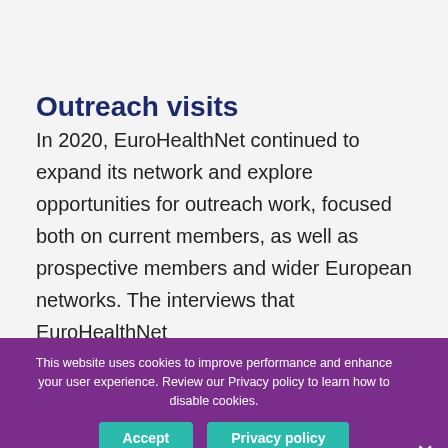Outreach visits
In 2020, EuroHealthNet continued to expand its network and explore opportunities for outreach work, focused both on current members, as well as prospective members and wider European networks. The interviews that EuroHealthNet
This website uses cookies to improve performance and enhance your user experience. Review our Privacy policy to learn how to disable cookies.